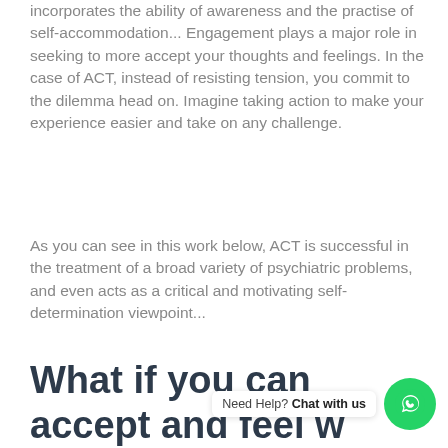incorporates the ability of awareness and the practise of self-accommodation... Engagement plays a major role in seeking to more accept your thoughts and feelings. In the case of ACT, instead of resisting tension, you commit to the dilemma head on. Imagine taking action to make your experience easier and take on any challenge.
As you can see in this work below, ACT is successful in the treatment of a broad variety of psychiatric problems, and even acts as a critical and motivating self-determination viewpoint...
What if you can accept and feel what you think, even if it is
Need Help? Chat with us